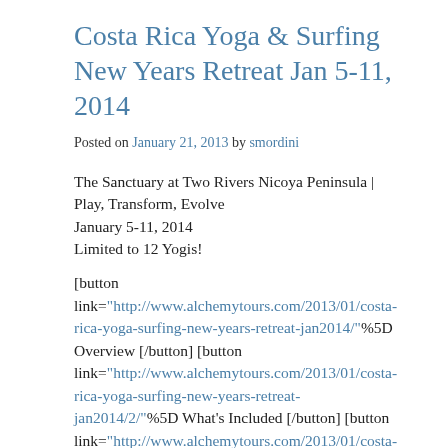Costa Rica Yoga & Surfing New Years Retreat Jan 5-11, 2014
Posted on January 21, 2013 by smordini
The Sanctuary at Two Rivers Nicoya Peninsula |
Play, Transform, Evolve
January 5-11, 2014
Limited to 12 Yogis!
[button link="http://www.alchemytours.com/2013/01/costa-rica-yoga-surfing-new-years-retreat-jan2014/"%5D Overview [/button] [button link="http://www.alchemytours.com/2013/01/costa-rica-yoga-surfing-new-years-retreat-jan2014/2/"%5D What's Included [/button] [button link="http://www.alchemytours.com/2013/01/costa-rica-yoga-surfing-new-years-retreat-jan2014/3/"%5D Not Included [/button] [button link="http://www.alchemytours.com/2013/01/costa-rica-